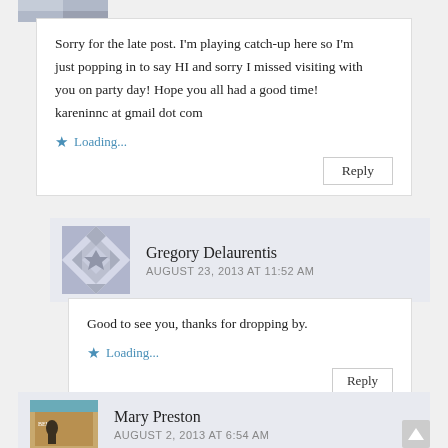Sorry for the late post. I'm playing catch-up here so I'm just popping in to say HI and sorry I missed visiting with you on party day! Hope you all had a good time! kareninnc at gmail dot com
Loading...
Reply
Gregory Delaurentis
AUGUST 23, 2013 AT 11:52 AM
Good to see you, thanks for dropping by.
Loading...
Reply
[Figure (photo): Avatar image for Mary Preston]
Mary Preston
AUGUST 2, 2013 AT 6:54 AM